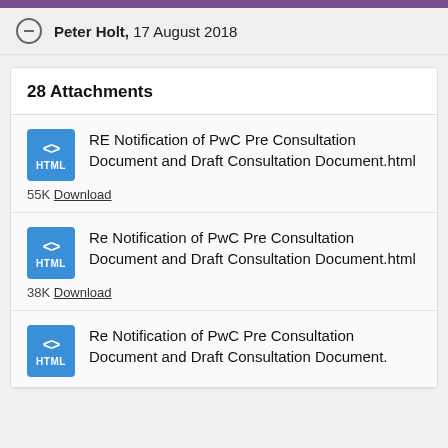Peter Holt, 17 August 2018
28 Attachments
RE Notification of PwC Pre Consultation Document and Draft Consultation Document.html — 55K Download
Re Notification of PwC Pre Consultation Document and Draft Consultation Document.html — 38K Download
Re Notification of PwC Pre Consultation Document and Draft Consultation Document.html